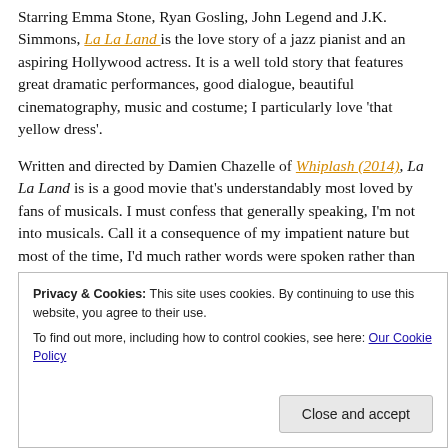Starring Emma Stone, Ryan Gosling, John Legend and J.K. Simmons, La La Land is the love story of a jazz pianist and an aspiring Hollywood actress. It is a well told story that features great dramatic performances, good dialogue, beautiful cinematography, music and costume; I particularly love 'that yellow dress'.
Written and directed by Damien Chazelle of Whiplash (2014), La La Land is is a good movie that's understandably most loved by fans of musicals. I must confess that generally speaking, I'm not into musicals. Call it a consequence of my impatient nature but most of the time, I'd much rather words were spoken rather than sang. The
Privacy & Cookies: This site uses cookies. By continuing to use this website, you agree to their use.
To find out more, including how to control cookies, see here: Our Cookie Policy